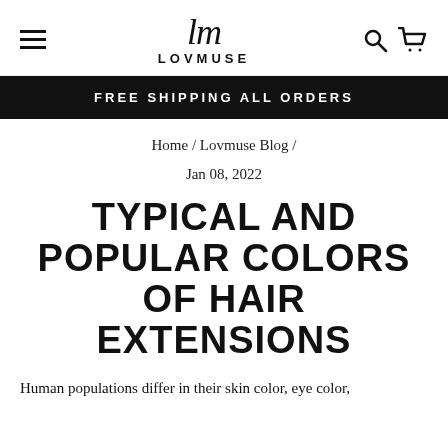LOVMUSE
FREE SHIPPING ALL ORDERS
Home / Lovmuse Blog /
Jan 08, 2022
TYPICAL AND POPULAR COLORS OF HAIR EXTENSIONS
Human populations differ in their skin color, eye color,